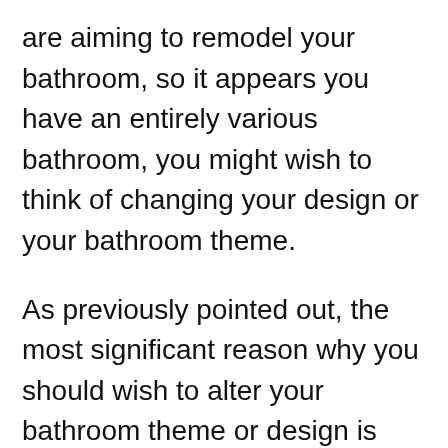are aiming to remodel your bathroom, so it appears you have an entirely various bathroom, you might wish to think of changing your design or your bathroom theme.
As previously pointed out, the most significant reason why you should wish to alter your bathroom theme or design is because of the modification. You can alter a bathroom as much as you want, by changing the fixtures, but if you have the